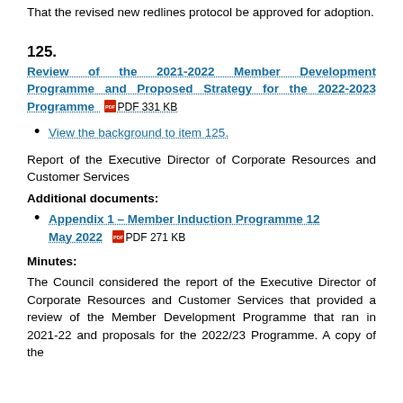That the revised new redlines protocol be approved for adoption.
125.
Review of the 2021-2022 Member Development Programme and Proposed Strategy for the 2022-2023 Programme  PDF 331 KB
View the background to item 125.
Report of the Executive Director of Corporate Resources and Customer Services
Additional documents:
Appendix 1 - Member Induction Programme 12 May 2022  PDF 271 KB
Minutes:
The Council considered the report of the Executive Director of Corporate Resources and Customer Services that provided a review of the Member Development Programme that ran in 2021-22 and proposals for the 2022/23 Programme. A copy of the